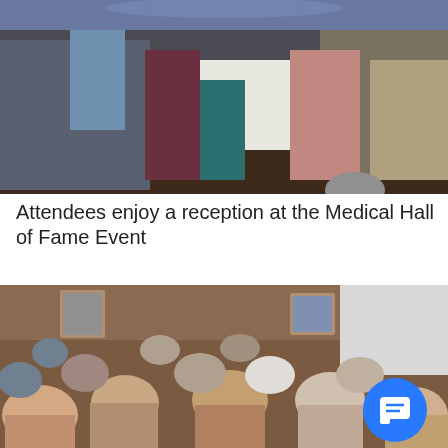[Figure (photo): People mingling at a reception event, standing around tables with food and drinks in a banquet hall setting.]
Attendees enjoy a reception at the Medical Hall of Fame Event
[Figure (photo): Audience members seated in rows listening to a presentation in a room with framed portraits on the walls and a projection screen visible at the right.]